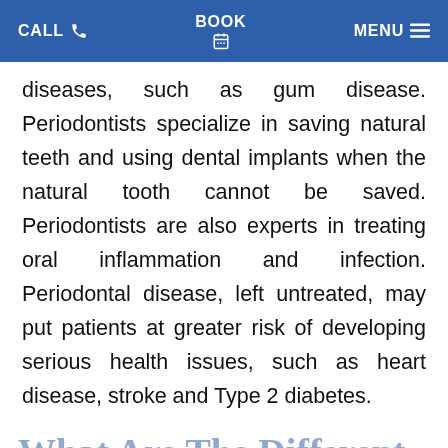CALL  BOOK  MENU
diseases, such as gum disease. Periodontists specialize in saving natural teeth and using dental implants when the natural tooth cannot be saved. Periodontists are also experts in treating oral inflammation and infection. Periodontal disease, left untreated, may put patients at greater risk of developing serious health issues, such as heart disease, stroke and Type 2 diabetes.
What Are The Different Types Of Periodontal